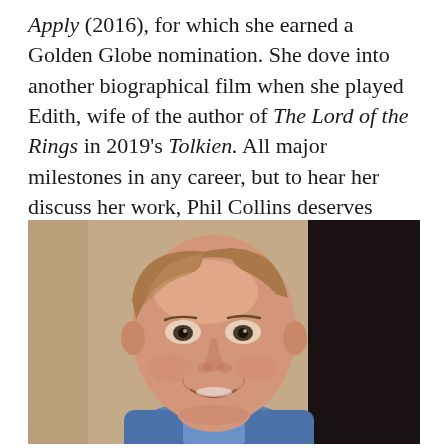Apply (2016), for which she earned a Golden Globe nomination. She dove into another biographical film when she played Edith, wife of the author of The Lord of the Rings in 2019's Tolkien. All major milestones in any career, but to hear her discuss her work, Phil Collins deserves credit as well.
[Figure (photo): Portrait photograph of a middle-aged bald man with light brown hair on the sides and top, smiling slightly, wearing a blue jacket, photographed from the shoulders up against a beige/brown background with a dark area on the right.]